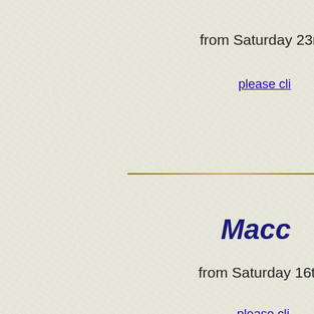from Saturday 23r
please cli
Macc
from Saturday 16t
please cli
Batlow